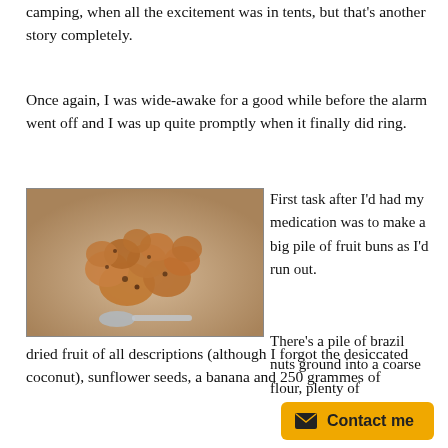camping, when all the excitement was in tents, but that's another story completely.
Once again, I was wide-awake for a good while before the alarm went off and I was up quite promptly when it finally did ring.
[Figure (photo): A photograph of fruit buns/cookies piled on a wooden surface with a spoon, with a small label in the top left corner.]
First task after I'd had my medication was to make a big pile of fruit buns as I'd run out.
There's a pile of brazil nuts ground into a coarse flour, plenty of dried fruit of all descriptions (although I forgot the desiccated coconut), sunflower seeds, a banana and 250 grammes of